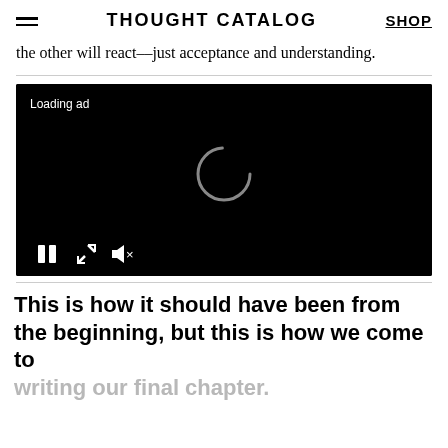THOUGHT CATALOG   SHOP
the other will react––just acceptance and understanding.
[Figure (screenshot): Black video player with 'Loading ad' text, a circular spinner in the center, and playback controls (pause, fullscreen, mute) at the bottom left.]
This is how it should have been from the beginning, but this is how we come to writing our final chapter.